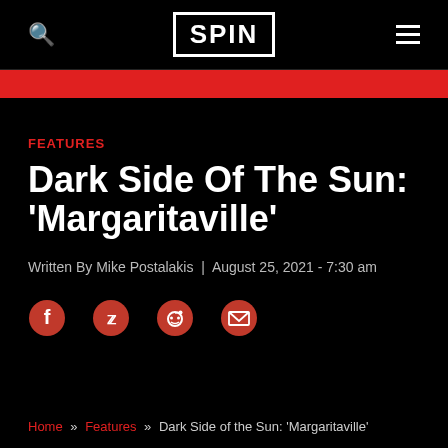SPIN
[Figure (logo): SPIN magazine logo in white text with black border, centered in navigation bar]
FEATURES
Dark Side Of The Sun: 'Margaritaville'
Written By Mike Postalakis | August 25, 2021 - 7:30 am
[Figure (infographic): Social share icons: Facebook, Twitter, Reddit, Email — all in red circles]
Home » Features » Dark Side of the Sun: 'Margaritaville'